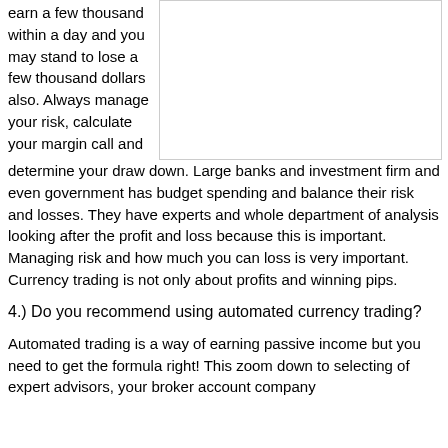earn a few thousand within a day and you may stand to lose a few thousand dollars also. Always manage your risk, calculate your margin call and determine your draw down. Large banks and investment firm and even government has budget spending and balance their risk and losses. They have experts and whole department of analysis looking after the profit and loss because this is important. Managing risk and how much you can loss is very important. Currency trading is not only about profits and winning pips.
[Figure (other): White rectangular box/image placeholder on the right side of the page]
4.) Do you recommend using automated currency trading?
Automated trading is a way of earning passive income but you need to get the formula right! This zoom down to selecting of expert advisors, your broker account company